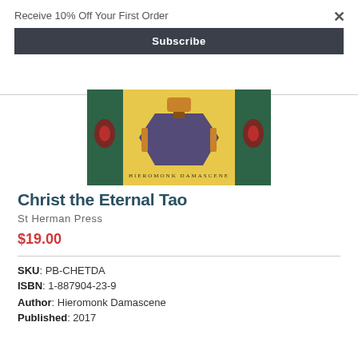Receive 10% Off Your First Order
Subscribe
[Figure (photo): Partial view of the book cover for 'Christ the Eternal Tao' by Hieromonk Damascene, showing decorative artwork on a yellow and green background.]
Christ the Eternal Tao
St Herman Press
$19.00
SKU: PB-CHETDA
ISBN: 1-887904-23-9
Author: Hieromonk Damascene
Published: 2017